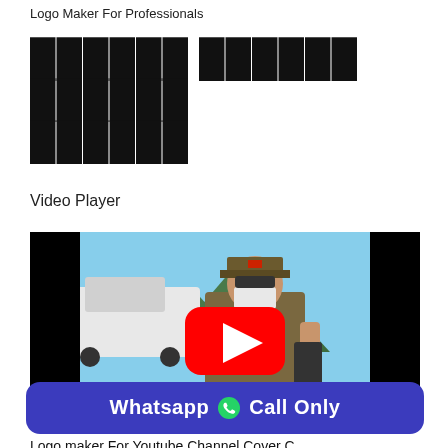Logo Maker For Professionals
████ ████ ████ ████
Video Player
[Figure (screenshot): Video player thumbnail showing a person in a police/military uniform with a face mask, holding a phone, with a white car and mountains in the background. A red YouTube play button is overlaid in the center.]
Whatsapp 📞 Call Only
Logo maker For Youtube Channel Cover C...